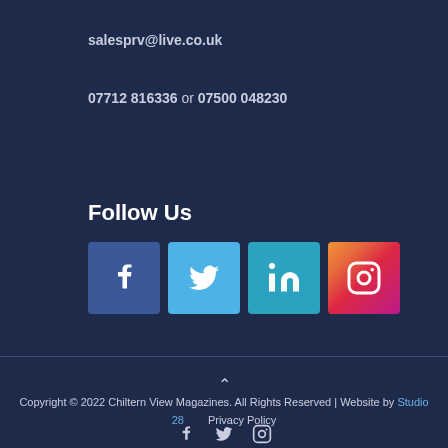salesprv@live.co.uk
07712 816336 or 07500 048230
Follow Us
[Figure (infographic): Four social media icon buttons: Facebook (blue), Twitter (light blue), LinkedIn (teal), Instagram (gradient orange-pink-purple)]
Copyright © 2022 Chiltern View Magazines. All Rights Reserved | Website by Studio 28   Privacy Policy
[Figure (infographic): Three small social media icons at bottom: Facebook, Twitter, Instagram in muted color]